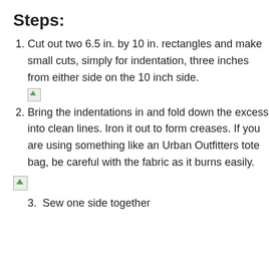Steps:
Cut out two 6.5 in. by 10 in. rectangles and make small cuts, simply for indentation, three inches from either side on the 10 inch side.
Bring the indentations in and fold down the excess into clean lines. Iron it out to form creases. If you are using something like an Urban Outfitters tote bag, be careful with the fabric as it burns easily.
Sew one side together